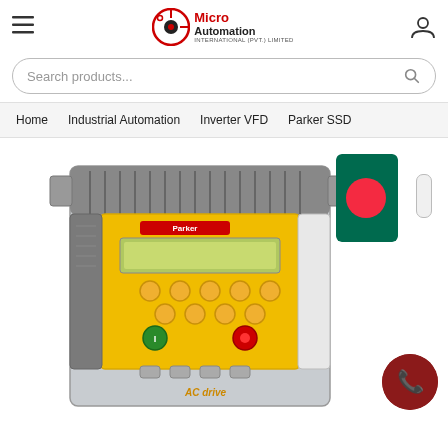Micro Automation - Industrial Automation website header with hamburger menu, logo, and user icon
Search products...
Home    Industrial Automation    Inverter VFD    Parker SSD
[Figure (photo): Parker SSD AC drive VFD inverter unit - grey and yellow industrial variable frequency drive with keypad display]
[Figure (photo): Bangladesh flag thumbnail - green background with red circle]
[Figure (illustration): Dark red phone call button icon]